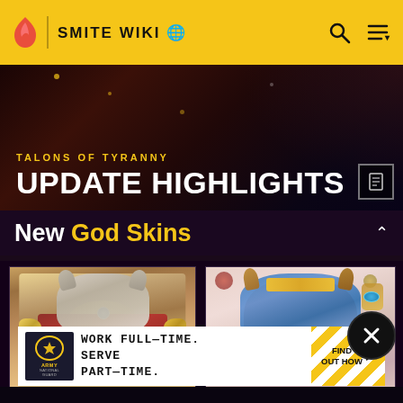SMITE WIKI
[Figure (screenshot): Smite Wiki game banner showing Talons of Tyranny Update Highlights with dark fantasy background]
TALONS OF TYRANNY UPDATE HIGHLIGHTS
New God Skins
[Figure (illustration): Wolf warrior god skin - armored wolf character with blue gem and gold/red armor]
[Figure (illustration): Cat character god skin - cute cat wearing blue and gold crown/helmet]
[Figure (infographic): Army National Guard advertisement: WORK FULL-TIME. SERVE PART-TIME. FIND OUT HOW]